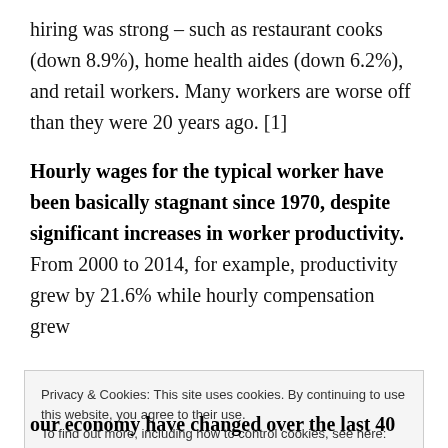hiring was strong – such as restaurant cooks (down 8.9%), home health aides (down 6.2%), and retail workers. Many workers are worse off than they were 20 years ago. [1]
Hourly wages for the typical worker have been basically stagnant since 1970, despite significant increases in worker productivity.
From 2000 to 2014, for example, productivity grew by 21.6% while hourly compensation grew
Privacy & Cookies: This site uses cookies. By continuing to use this website, you agree to their use.
To find out more, including how to control cookies, see here:
Cookie Policy
our economy have changed over the last 40